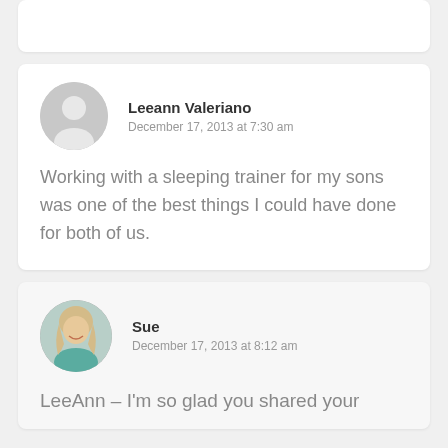[Figure (other): Partial comment card visible at top of page, cut off]
Leeann Valeriano
December 17, 2013 at 7:30 am
Working with a sleeping trainer for my sons was one of the best things I could have done for both of us.
Sue
December 17, 2013 at 8:12 am
LeeAnn – I'm so glad you shared your